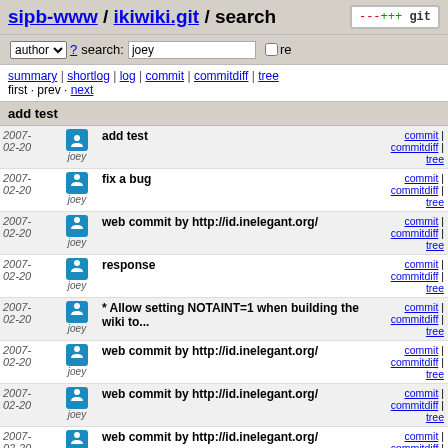sipb-www / ikiwiki.git / search
author search: joey re
summary | shortlog | log | commit | commitdiff | tree
first · prev · next
add test
| date | author | message | links |
| --- | --- | --- | --- |
| 2007-02-20 | joey | add test | commit | commitdiff | tree |
| 2007-02-20 | joey | fix a bug | commit | commitdiff | tree |
| 2007-02-20 | joey | web commit by http://id.inelegant.org/ | commit | commitdiff | tree |
| 2007-02-20 | joey | response | commit | commitdiff | tree |
| 2007-02-20 | joey | * Allow setting NOTAINT=1 when building the wiki to... | commit | commitdiff | tree |
| 2007-02-20 | joey | web commit by http://id.inelegant.org/ | commit | commitdiff | tree |
| 2007-02-20 | joey | web commit by http://id.inelegant.org/ | commit | commitdiff | tree |
| 2007-02-20 | joey | web commit by http://id.inelegant.org/ | commit | commitdiff | tree |
| 2007-... | joey | web commit by http://id.inelegant.org/ | commit |